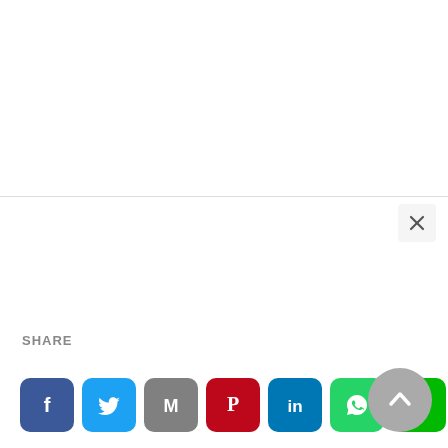[Figure (screenshot): White area at top of page, blank content area]
[Figure (screenshot): Close/dismiss button (×) in top right of modal overlay]
SHARE
[Figure (infographic): Row of social media share icons: Facebook, Twitter, Gmail, Pinterest, LinkedIn, WhatsApp, LINE, Reddit, WeChat]
[Figure (other): Scroll-to-top circular grey button with upward arrow]